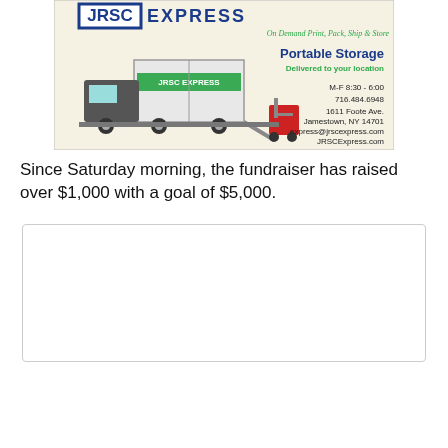[Figure (logo): JRSC Express advertisement banner showing a portable storage truck/trailer with contact information. Blue and green branding. Text: 'JRSC EXPRESS - On Demand Print, Pack, Ship & Store - Portable Storage - Delivered to your location - M-F 8:30-6:00 - 716.484.6948 - 1611 Foote Ave. Jamestown, NY 14701 - express@jrscexpress.com - JRSCExpress.com']
Since Saturday morning, the fundraiser has raised over $1,000 with a goal of $5,000.